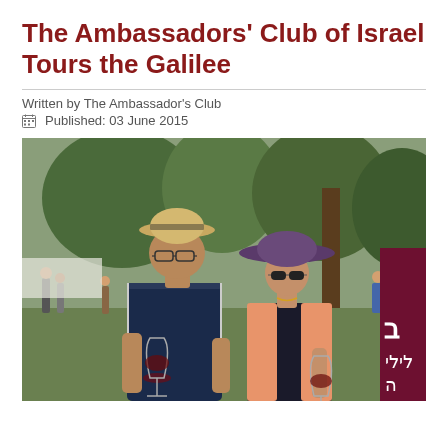The Ambassadors' Club of Israel Tours the Galilee
Written by The Ambassador's Club
Published: 03 June 2015
[Figure (photo): Two people standing outdoors at a garden event in the Galilee. On the left, a man wearing a tan fedora hat, glasses, and a dark polo shirt, holding a wine glass with red wine. On the right, a woman wearing a wide-brimmed purple hat, sunglasses, and a salmon/orange cardigan over a dark floral top, also holding a wine glass. In the background there are trees, a crowd of people, and a partial sign with Hebrew text on a dark maroon banner on the right side.]